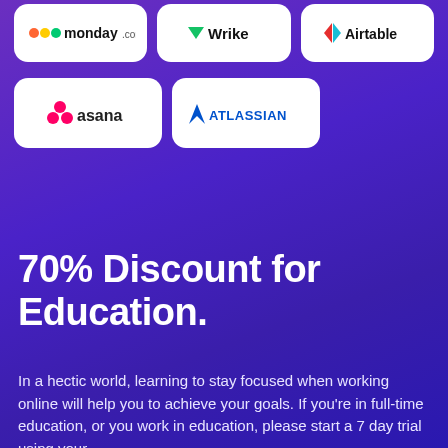[Figure (logo): Row of three software logos: monday.com, Wrike, Airtable]
[Figure (logo): Row of two software logos: asana, ATLASSIAN]
70% Discount for Education.
In a hectic world, learning to stay focused when working online will help you to achieve your goals. If you're in full-time education, or you work in education, please start a 7 day trial using your